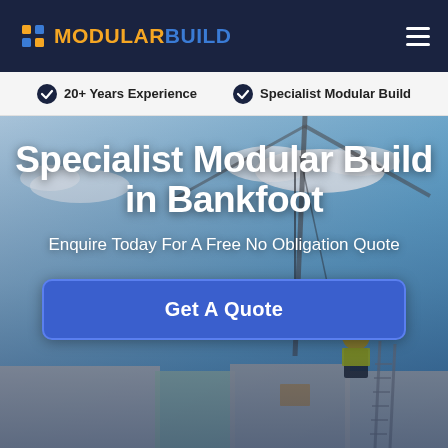MODULARBUILD
20+ Years Experience   Specialist Modular Build
Specialist Modular Build in Bankfoot
Enquire Today For A Free No Obligation Quote
[Figure (photo): Construction worker in yellow high-visibility vest on rooftop with crane arm visible against blue sky background]
Get A Quote